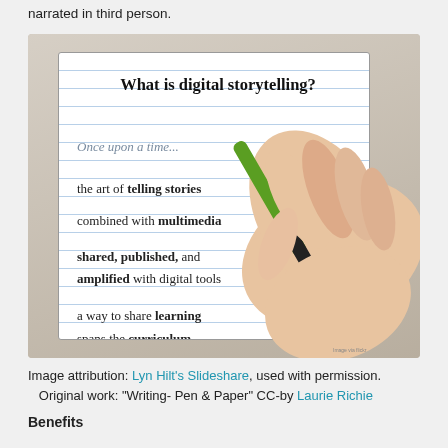narrated in third person.
[Figure (photo): Photo of a notebook page with text 'What is digital storytelling?' and bullet definitions, with a hand holding a green and black pen writing on it.]
Image attribution: Lyn Hilt's Slideshare, used with permission. Original work: "Writing- Pen & Paper" CC-by Laurie Richie
Benefits